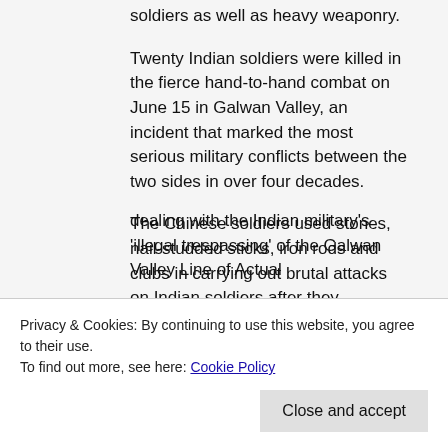soldiers as well as heavy weaponry.
Twenty Indian soldiers were killed in the fierce hand-to-hand combat on June 15 in Galwan Valley, an incident that marked the most serious military conflicts between the two sides in over four decades.
The Chinese soldiers used stones, nail-studded sticks, iron rods and clubs in carrying out brutal attacks on Indian soldiers after they protested the erection of a surveillance post by China on the Indian side of the Line of Actual Control in Galwan.
The PLA Daily report claimed that the Indian
Privacy & Cookies: By continuing to use this website, you agree to their use.
To find out more, see here: Cookie Policy
Close and accept
dealing with the Indian military's 'illegal trespassing' of the Galwan Valley Line of Actual